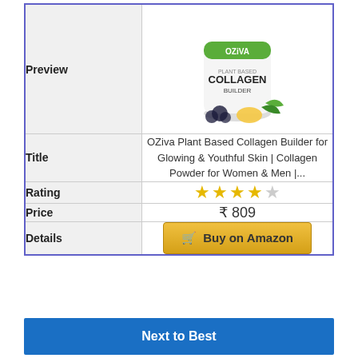|  |  |
| --- | --- |
| Preview | [OZiva Plant Based Collagen Builder product image] |
| Title | OZiva Plant Based Collagen Builder for Glowing & Youthful Skin | Collagen Powder for Women & Men |... |
| Rating | 4 out of 5 stars |
| Price | ₹ 809 |
| Details | Buy on Amazon |
Next to Best